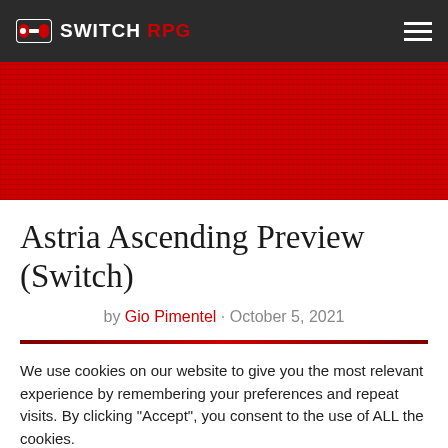SWITCH RPG
[Figure (illustration): Red banner with dark textured background, used as article hero image area]
Astria Ascending Preview (Switch)
by Gio Pimentel · October 5, 2021
We use cookies on our website to give you the most relevant experience by remembering your preferences and repeat visits. By clicking "Accept", you consent to the use of ALL the cookies.
Cookie settings  ACCEPT